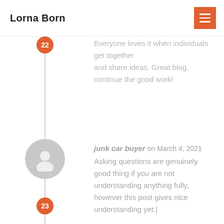Lorna Born
Everyone loves it when individuals get together and share ideas. Great blog, continue the good work!
junk car buyer on March 4, 2021
Asking questions are genuinely good thing if you are not understanding anything fully, however this post gives nice understanding yet.|